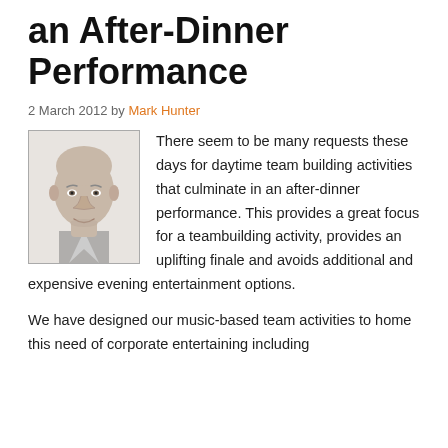an After-Dinner Performance
2 March 2012 by Mark Hunter
[Figure (photo): Black and white headshot photo of Mark Hunter, a bald man with a slight smile, shown from shoulders up]
There seem to be many requests these days for daytime team building activities that culminate in an after-dinner performance. This provides a great focus for a teambuilding activity, provides an uplifting finale and avoids additional and expensive evening entertainment options.
We have designed our music-based team activities to home this need of corporate entertaining including